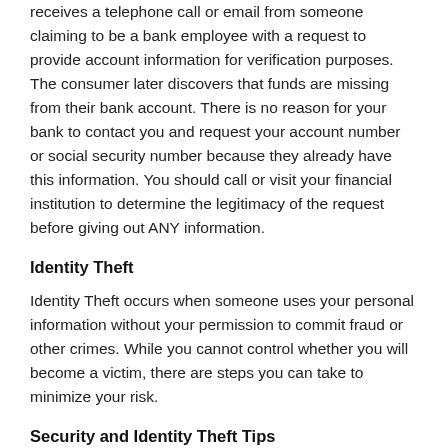receives a telephone call or email from someone claiming to be a bank employee with a request to provide account information for verification purposes. The consumer later discovers that funds are missing from their bank account. There is no reason for your bank to contact you and request your account number or social security number because they already have this information. You should call or visit your financial institution to determine the legitimacy of the request before giving out ANY information.
Identity Theft
Identity Theft occurs when someone uses your personal information without your permission to commit fraud or other crimes. While you cannot control whether you will become a victim, there are steps you can take to minimize your risk.
Security and Identity Theft Tips
The Federal Trade commission recommends the following